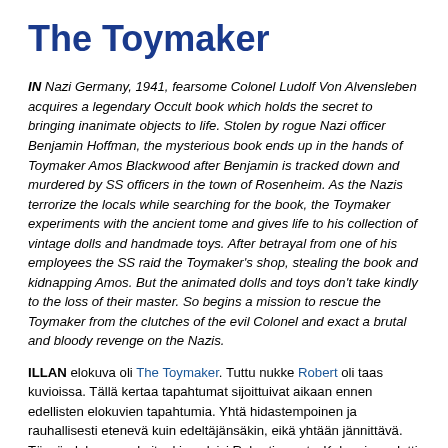The Toymaker
IN Nazi Germany, 1941, fearsome Colonel Ludolf Von Alvensleben acquires a legendary Occult book which holds the secret to bringing inanimate objects to life. Stolen by rogue Nazi officer Benjamin Hoffman, the mysterious book ends up in the hands of Toymaker Amos Blackwood after Benjamin is tracked down and murdered by SS officers in the town of Rosenheim. As the Nazis terrorize the locals while searching for the book, the Toymaker experiments with the ancient tome and gives life to his collection of vintage dolls and handmade toys. After betrayal from one of his employees the SS raid the Toymaker's shop, stealing the book and kidnapping Amos. But the animated dolls and toys don't take kindly to the loss of their master. So begins a mission to rescue the Toymaker from the clutches of the evil Colonel and exact a brutal and bloody revenge on the Nazis.
ILLAN elokuva oli The Toymaker. Tuttu nukke Robert oli taas kuvioissa. Tällä kertaa tapahtumat sijoittuivat aikaan ennen edellisten elokuvien tapahtumia. Yhtä hidastempoinen ja rauhallisesti etenevä kuin edeltäjänsäkin, eikä yhtään jännittävä. Tässä elokuvassa kuitenkin selvisi Robertin synty. Koko ajan odotti vain oikeasti jotakin